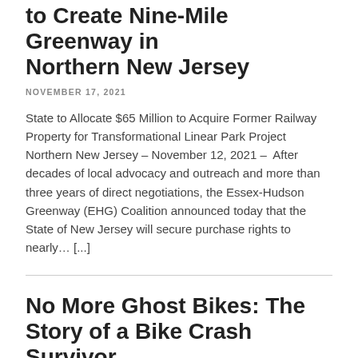to Create Nine-Mile Greenway in Northern New Jersey
NOVEMBER 17, 2021
State to Allocate $65 Million to Acquire Former Railway Property for Transformational Linear Park Project Northern New Jersey – November 12, 2021 – After decades of local advocacy and outreach and more than three years of direct negotiations, the Essex-Hudson Greenway (EHG) Coalition announced today that the State of New Jersey will secure purchase rights to nearly… [...]
No More Ghost Bikes: The Story of a Bike Crash Survivor
NOVEMBER 9, 2021